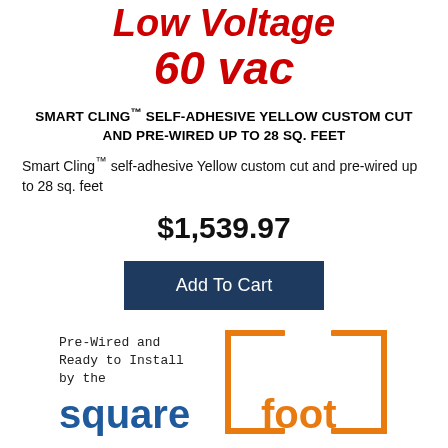Low Voltage 60 vac
SMART CLING™ SELF-ADHESIVE YELLOW CUSTOM CUT AND PRE-WIRED UP TO 28 SQ. FEET
Smart Cling™ self-adhesive Yellow custom cut and pre-wired up to 28 sq. feet
$1,539.97
[Figure (other): Add To Cart button (dark navy blue rectangle with white text)]
[Figure (logo): Square Foot logo with text 'Pre-Wired and Ready to Install by the squarefoot' — orange square bracket outline with blue 'square' and orange 'foot' text]